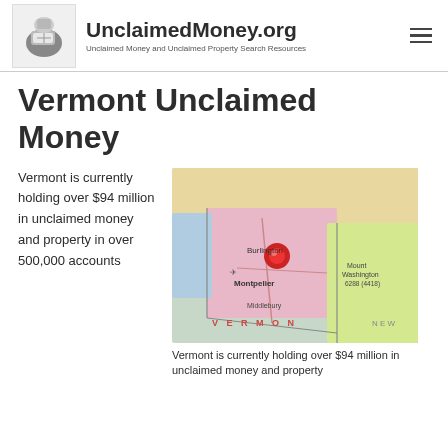UnclaimedMoney.org — Unclaimed Money and Unclaimed Property Search Resources
Vermont Unclaimed Money
Vermont is currently holding over $94 million in unclaimed money and property in over 500,000 accounts
[Figure (map): Map of Vermont with a red pin marking Burlington/Montpelier area]
Vermont is currently holding over $94 million in unclaimed money and property